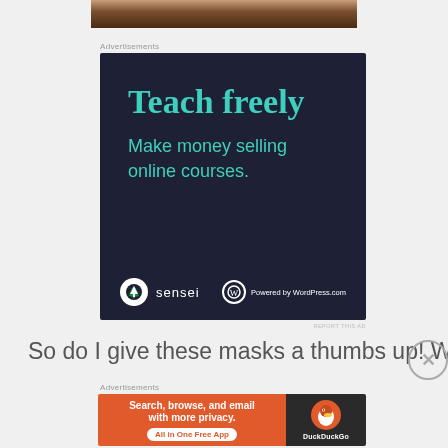[Figure (photo): Partial photo strip showing toes/feet on carpet at top of page]
Advertisements
[Figure (infographic): Sensei ad on dark navy background: 'Teach freely — Make money selling online courses.' with Sensei logo and 'Powered by WordPress.com']
REPORT THIS AD
So do I give these masks a thumbs up! Well Yes I do, in
Advertisements
[Figure (infographic): DuckDuckGo advertisement: 'Search, browse, and email with more privacy. All in One Free App' on orange background with DuckDuckGo logo on dark right panel]